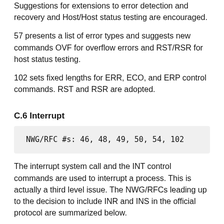Suggestions for extensions to error detection and recovery and Host/Host status testing are encouraged.
57 presents a list of error types and suggests new commands OVF for overflow errors and RST/RSR for host status testing.
102 sets fixed lengths for ERR, ECO, and ERP control commands. RST and RSR are adopted.
C.6 Interrupt
NWG/RFC #s: 46, 48, 49, 50, 54, 102
The interrupt system call and the INT control commands are used to interrupt a process. This is actually a third level issue. The NWG/RFCs leading up to the decision to include INR and INS in the official protocol are summarized below.
In particular: